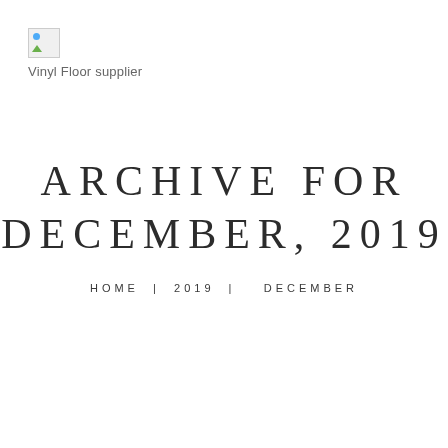[Figure (logo): Broken image placeholder icon for Vinyl Floor supplier logo]
Vinyl Floor supplier
ARCHIVE FOR DECEMBER, 2019
HOME | 2019 | DECEMBER